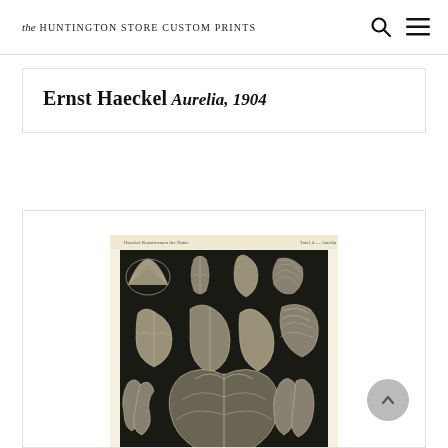the HUNTINGTON STORE CUSTOM PRINTS
Ernst Haeckel
Aurelia, 1904
[Figure (illustration): Ernst Haeckel botanical/biological illustration plate from 1904 showing various shell specimens arranged on a dark background, cream-colored border with small header text at top reading plate information.]